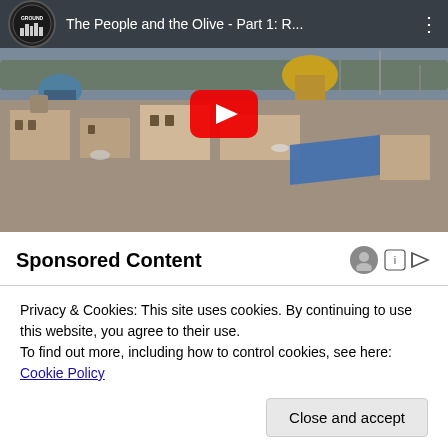[Figure (screenshot): YouTube video thumbnail showing aerial view of Jerusalem/Middle Eastern city with domed buildings. Video title: 'The People and the Olive - Part 1: R...' with GROUND channel logo in top-left and three-dot menu. Large red YouTube play button centered on thumbnail.]
Sponsored Content
Privacy & Cookies: This site uses cookies. By continuing to use this website, you agree to their use.
To find out more, including how to control cookies, see here: Cookie Policy
Close and accept